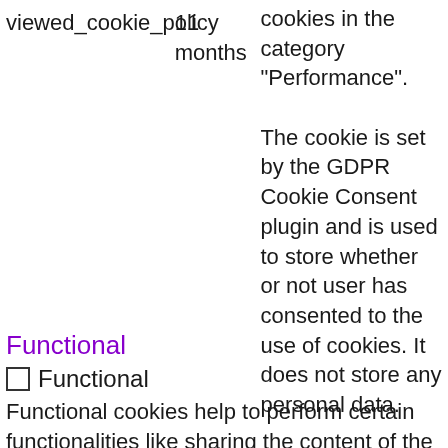| Cookie | Duration | Description |
| --- | --- | --- |
| viewed_cookie_policy | 11 months | cookies in the category "Performance".
The cookie is set by the GDPR Cookie Consent plugin and is used to store whether or not user has consented to the use of cookies. It does not store any personal data. |
Functional
Functional
Functional cookies help to perform certain functionalities like sharing the content of the website on social media platforms, collect